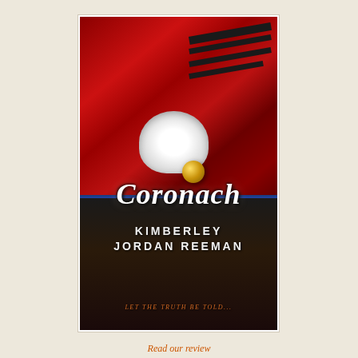[Figure (illustration): Book cover of 'Coronach' by Kimberley Jordan Reeman showing a soldier in red British military uniform with black stripes on the shoulder, holding a white ruffled cloth and a gold orb, with a Union Jack flag visible below, in dark moody tones. Title in italic script font, author name in bold capitals, tagline 'Let the truth be told...' in orange at bottom.]
Read our review